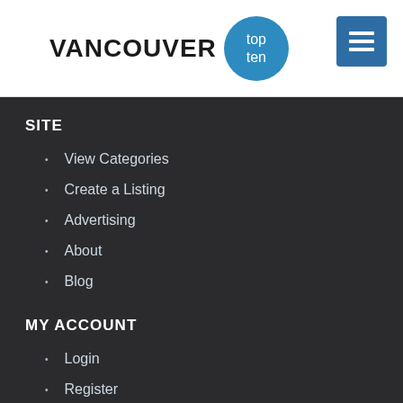VANCOUVER top ten
SITE
View Categories
Create a Listing
Advertising
About
Blog
MY ACCOUNT
Login
Register